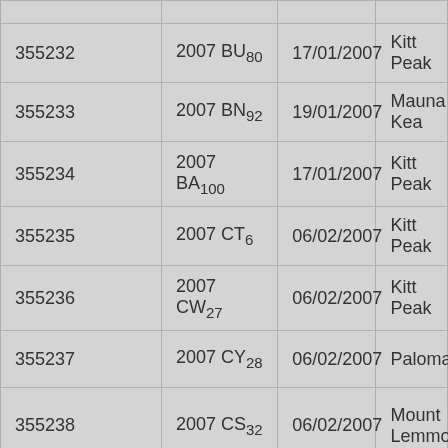| 355232 | 2007 BU₈₀ | 17/01/2007 | Kitt Peak |
| 355233 | 2007 BN₉₂ | 19/01/2007 | Mauna Kea |
| 355234 | 2007 BA₁₀₀ | 17/01/2007 | Kitt Peak |
| 355235 | 2007 CT₆ | 06/02/2007 | Kitt Peak |
| 355236 | 2007 CW₂₇ | 06/02/2007 | Kitt Peak |
| 355237 | 2007 CY₂₈ | 06/02/2007 | Palomar |
| 355238 | 2007 CS₃₂ | 06/02/2007 | Mount Lemmon |